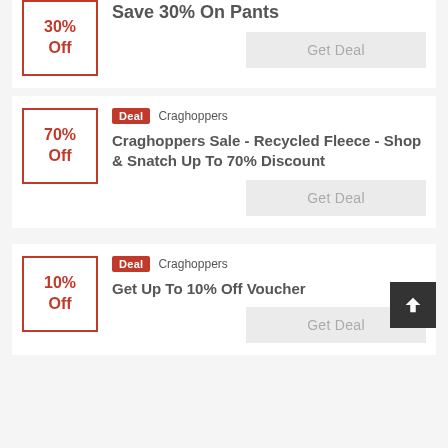30% Off — Save 30% On Pants — Get Deal
Deal Craghoppers — 70% Off — Craghoppers Sale - Recycled Fleece - Shop & Snatch Up To 70% Discount — Get Deal
Deal Craghoppers — 10% Off — Get Up To 10% Off Voucher — Get Deal